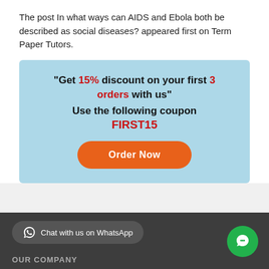The post In what ways can AIDS and Ebola both be described as social diseases? appeared first on Term Paper Tutors.
[Figure (infographic): Light blue promotional box with text: "Get 15% discount on your first 3 orders with us" Use the following coupon FIRST15, and an orange rounded 'Order Now' button.]
Chat with us on WhatsApp | OUR COMPANY
[Figure (illustration): Green circular chat bubble icon in bottom right corner.]